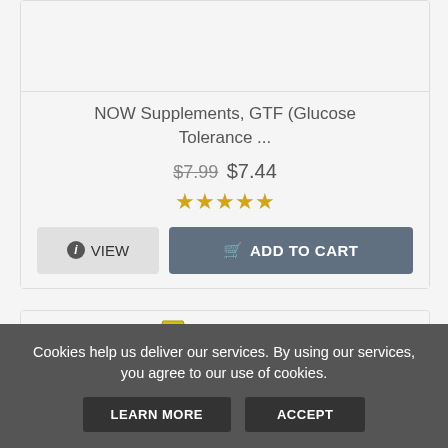NOW Supplements, GTF (Glucose Tolerance ...
$7.99 $7.44
[Figure (other): Five golden star rating]
VIEW
ADD TO CART
[Figure (photo): Vitalar Zinc 50 MG supplement bottles with immune support label and shield badge]
Cookies help us deliver our services. By using our services, you agree to our use of cookies.
LEARN MORE
ACCEPT